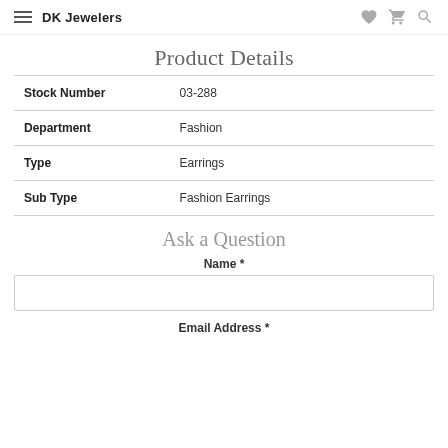DK Jewelers
Product Details
| Field | Value |
| --- | --- |
| Stock Number | 03-288 |
| Department | Fashion |
| Type | Earrings |
| Sub Type | Fashion Earrings |
Ask a Question
Name *
Email Address *